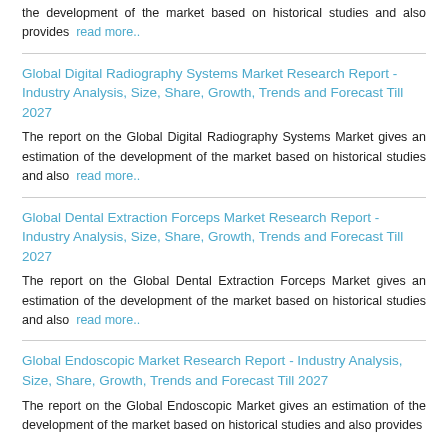the development of the market based on historical studies and also provides read more..
Global Digital Radiography Systems Market Research Report - Industry Analysis, Size, Share, Growth, Trends and Forecast Till 2027
The report on the Global Digital Radiography Systems Market gives an estimation of the development of the market based on historical studies and also read more..
Global Dental Extraction Forceps Market Research Report - Industry Analysis, Size, Share, Growth, Trends and Forecast Till 2027
The report on the Global Dental Extraction Forceps Market gives an estimation of the development of the market based on historical studies and also read more..
Global Endoscopic Market Research Report - Industry Analysis, Size, Share, Growth, Trends and Forecast Till 2027
The report on the Global Endoscopic Market gives an estimation of the development of the market based on historical studies and also provides